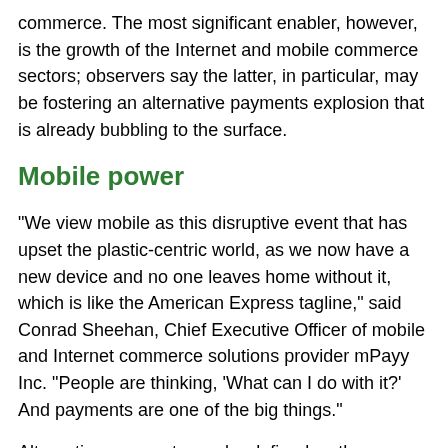commerce. The most significant enabler, however, is the growth of the Internet and mobile commerce sectors; observers say the latter, in particular, may be fostering an alternative payments explosion that is already bubbling to the surface.
Mobile power
"We view mobile as this disruptive event that has upset the plastic-centric world, as we now have a new device and no one leaves home without it, which is like the American Express tagline," said Conrad Sheehan, Chief Executive Officer of mobile and Internet commerce solutions provider mPayy Inc. "People are thinking, 'What can I do with it?' And payments are one of the big things."
Alternative payments can be defined as those